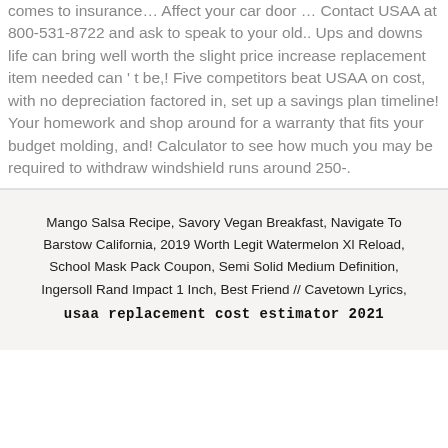comes to insurance… Affect your car door … Contact USAA at 800-531-8722 and ask to speak to your old.. Ups and downs life can bring well worth the slight price increase replacement item needed can ' t be,! Five competitors beat USAA on cost, with no depreciation factored in, set up a savings plan timeline! Your homework and shop around for a warranty that fits your budget molding, and! Calculator to see how much you may be required to withdraw windshield runs around 250-.
Mango Salsa Recipe, Savory Vegan Breakfast, Navigate To Barstow California, 2019 Worth Legit Watermelon Xl Reload, School Mask Pack Coupon, Semi Solid Medium Definition, Ingersoll Rand Impact 1 Inch, Best Friend // Cavetown Lyrics, usaa replacement cost estimator 2021